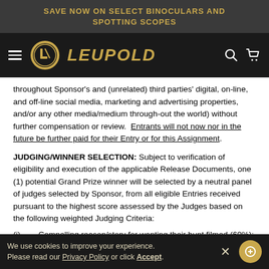SAVE NOW ON SELECT BINOCULARS AND SPOTTING SCOPES
[Figure (logo): Leupold brand logo with golden circular badge and italic LEUPOLD text, navigation bar with hamburger menu, search and cart icons]
throughout Sponsor's and (unrelated) third parties' digital, on-line, and off-line social media, marketing and advertising properties, and/or any other media/medium through-out the world) without further compensation or review. Entrants will not now nor in the future be further paid for their Entry or for this Assignment.
JUDGING/WINNER SELECTION: Subject to verification of eligibility and execution of the applicable Release Documents, one (1) potential Grand Prize winner will be selected by a neutral panel of judges selected by Sponsor, from all eligible Entries received pursuant to the highest score assessed by the Judges based on the following weighted Judging Criteria:
(i)   Compelling reason/story for wanting their hunt filmed (60%):
We use cookies to improve your experience. Please read our Privacy Policy or click Accept.